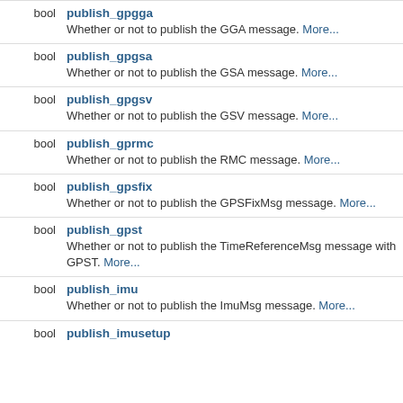bool publish_gpgga — Whether or not to publish the GGA message. More...
bool publish_gpgsa — Whether or not to publish the GSA message. More...
bool publish_gpgsv — Whether or not to publish the GSV message. More...
bool publish_gprmc — Whether or not to publish the RMC message. More...
bool publish_gpsfix — Whether or not to publish the GPSFixMsg message. More...
bool publish_gpst — Whether or not to publish the TimeReferenceMsg message with GPST. More...
bool publish_imu — Whether or not to publish the ImuMsg message. More...
bool publish_imusetup